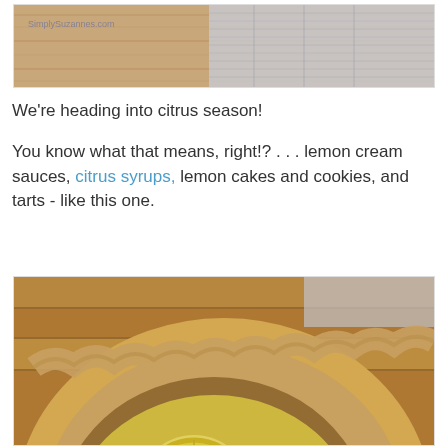[Figure (photo): Top photo cropped: wooden cutting board background with a folded gray knit cloth/towel. Watermark 'SimplySuzannes.com' visible in top-left corner.]
We're heading into citrus season!
You know what that means, right!? . . . lemon cream sauces, citrus syrups, lemon cakes and cookies, and tarts - like this one.
[Figure (photo): Close-up photo of a lemon tart in a rustic crumbly pastry crust, showing bright yellow lemon curd filling with a lemon slice garnish visible, on a wooden surface with a cloth in the background.]